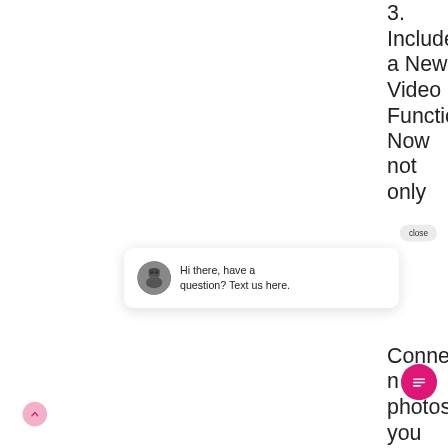3. Include a New Video Function Now not only
[Figure (screenshot): Close button pill in gray]
[Figure (screenshot): Chat popup card with animal avatar and text: Hi there, have a question? Text us here.]
Connec n photos, you
[Figure (screenshot): Pink circular chat icon button with message lines icon]
[Figure (screenshot): Pink circular scroll-to-top arrow button]